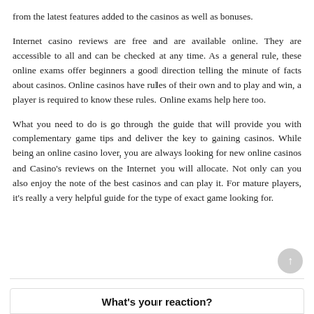from the latest features added to the casinos as well as bonuses.
Internet casino reviews are free and are available online. They are accessible to all and can be checked at any time. As a general rule, these online exams offer beginners a good direction telling the minute of facts about casinos. Online casinos have rules of their own and to play and win, a player is required to know these rules. Online exams help here too.
What you need to do is go through the guide that will provide you with complementary game tips and deliver the key to gaining casinos. While being an online casino lover, you are always looking for new online casinos and Casino's reviews on the Internet you will allocate. Not only can you also enjoy the note of the best casinos and can play it. For mature players, it's really a very helpful guide for the type of exact game looking for.
What's your reaction?